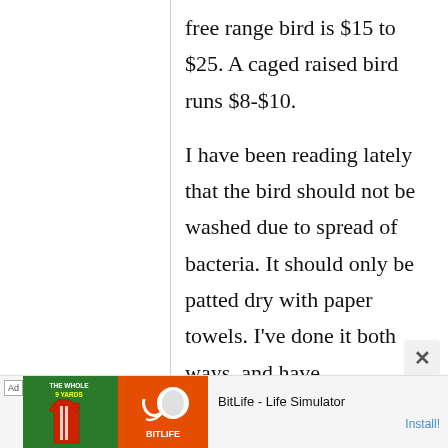free range bird is $15 to $25. A caged raised bird runs $8-$10. I have been reading lately that the bird should not be washed due to spread of bacteria. It should only be patted dry with paper towels. I've done it both ways, and have
[Figure (screenshot): Mobile advertisement banner at bottom of screen showing 'Ad' label, a green background with a football shirt graphic for 'The Whole 9 Yards', and an orange background with BitLife app icon (sperm/life simulator logo). Text reads 'BitLife - Life Simulator' with 'Install!' link.]